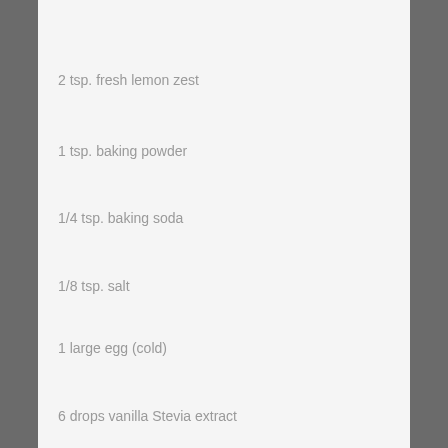2 tsp. fresh lemon zest
1 tsp. baking powder
1/4 tsp. baking soda
1/8 tsp. salt
1 large egg (cold)
6 drops vanilla Stevia extract
2 oz. cream cheese (cold; diced)
1/2 C. fresh strawberries (cleaned; diced small; frozen)
1 TBS. milk (for browning of dough surface)